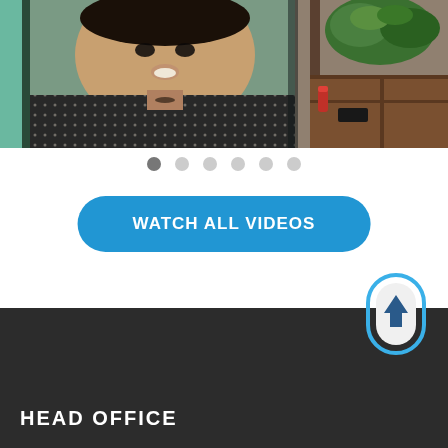[Figure (photo): A man speaking, wearing a black and white patterned shirt, in what appears to be a market stall setting with green vegetables visible in the background on the right side.]
[Figure (infographic): Carousel pagination dots — one dark gray active dot followed by five lighter gray inactive dots.]
[Figure (other): Blue rounded pill-shaped button with text WATCH ALL VIDEOS in white uppercase letters.]
HEAD OFFICE
[Figure (other): Scroll-to-top button: a rounded rectangle icon with blue outline and upward arrow inside, positioned in the bottom-right over the dark footer.]